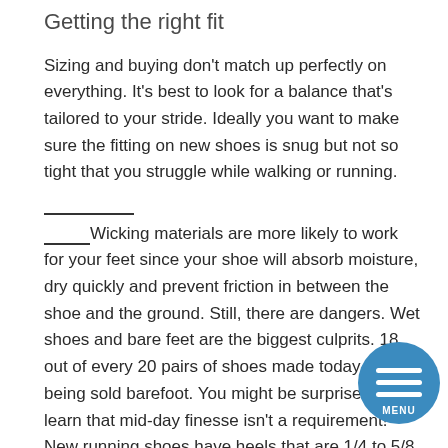Getting the right fit
Sizing and buying don't match up perfectly on everything. It's best to look for a balance that's tailored to your stride. Ideally you want to make sure the fitting on new shoes is snug but not so tight that you struggle while walking or running. __________ _____Wicking materials are more likely to work for your feet since your shoe will absorb moisture, dry quickly and prevent friction in between the shoe and the ground. Still, there are dangers. Wet shoes and bare feet are the biggest culprits. 18 out of every 20 pairs of shoes made today are being sold barefoot. You might be surprised to learn that mid-day finesse isn't a requirement! New running shoes have heels that are 1/4 to 5/8 inch wide, __________ compared to running shoes from 20 years ago that had those of rubber around the top of them. Modern running shoes are about 7 to 9 inches and athletic,